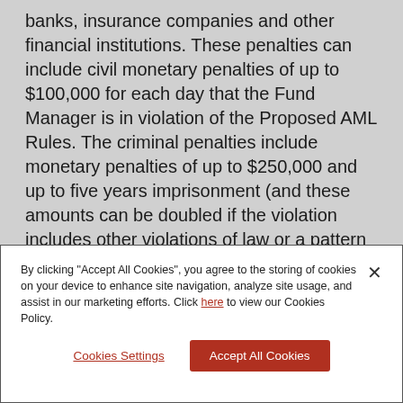banks, insurance companies and other financial institutions. These penalties can include civil monetary penalties of up to $100,000 for each day that the Fund Manager is in violation of the Proposed AML Rules. The criminal penalties include monetary penalties of up to $250,000 and up to five years imprisonment (and these amounts can be doubled if the violation includes other violations of law or a pattern of criminal activity). It is worth noting that criminal charges can be brought against
By clicking "Accept All Cookies", you agree to the storing of cookies on your device to enhance site navigation, analyze site usage, and assist in our marketing efforts. Click here to view our Cookies Policy.
Cookies Settings
Accept All Cookies